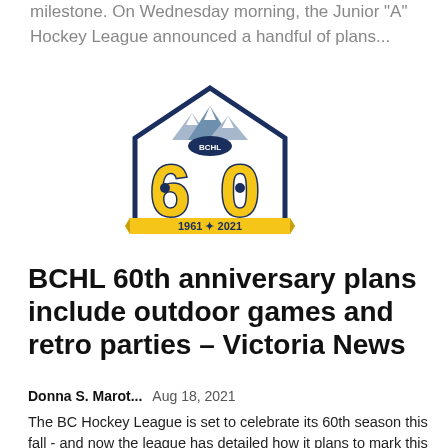milestone. On Wednesday morning, the Junior "A" Hockey League announced a handful of plans...
[Figure (logo): BCHL 60th anniversary logo featuring the number 60 in gold with navy blue outline, mountains above, and a banner reading 1961 · 2021]
BCHL 60th anniversary plans include outdoor games and retro parties – Victoria News
Donna S. Marot...   Aug 18, 2021
The BC Hockey League is set to celebrate its 60th season this fall - and now the league has detailed how it plans to mark this milestone. On Wednesday morning, the Junior "A" Hockey League announced